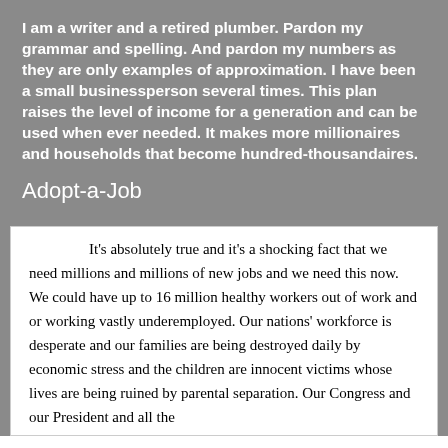I am a writer and a retired plumber. Pardon my grammar and spelling. And pardon my numbers as they are only examples of approximation. I have been a small businessperson several times. This plan raises the level of income for a generation and can be used when ever needed. It makes more millionaires and households that become hundred-thousandaires.
Adopt-a-Job
It's absolutely true and it's a shocking fact that we need millions and millions of new jobs and we need this now. We could have up to 16 million healthy workers out of work and or working vastly underemployed. Our nations' workforce is desperate and our families are being destroyed daily by economic stress and the children are innocent victims whose lives are being ruined by parental separation. Our Congress and our President and all the